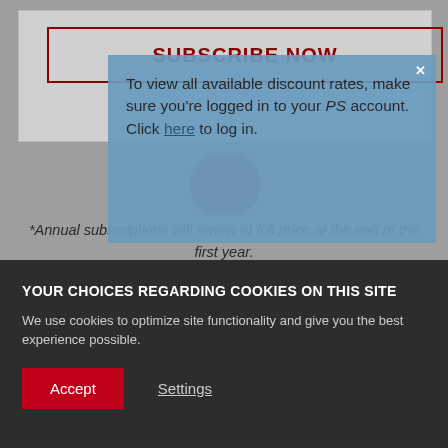SUBSCRIBE NOW
To view all available discount rates, make sure you're logged in to your PS account. Click here to log in.
*Annual subscriptions will renew at full price at the end of the first year.
YOUR CHOICES REGARDING COOKIES ON THIS SITE
We use cookies to optimize site functionality and give you the best experience possible.
Accept
Settings